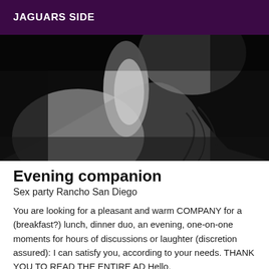JAGUARS SIDE
[Figure (photo): Black and white artistic photograph of a person's neck and shoulder, dimly lit against a dark background]
Evening companion
Sex party Rancho San Diego
You are looking for a pleasant and warm COMPANY for a (breakfast?) lunch, dinner duo, an evening, one-on-one moments for hours of discussions or laughter (discretion assured): I can satisfy you, according to your needs. THANK YOU TO READ THE ENTIRE AD Hello,